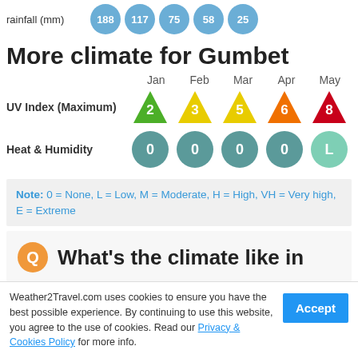rainfall (mm)
More climate for Gumbet
|  | Jan | Feb | Mar | Apr | May |
| --- | --- | --- | --- | --- | --- |
| UV Index (Maximum) | 2 | 3 | 5 | 6 | 8 |
| Heat & Humidity | 0 | 0 | 0 | 0 | L |
Note: 0 = None, L = Low, M = Moderate, H = High, VH = Very high, E = Extreme
What's the climate like in
Weather2Travel.com uses cookies to ensure you have the best possible experience. By continuing to use this website, you agree to the use of cookies. Read our Privacy & Cookies Policy for more info.